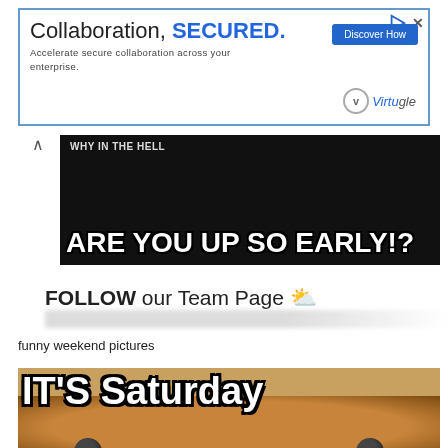[Figure (screenshot): Advertisement banner for 'Collaboration, SECURED.' by Virtru with a 'Discover How' button and Virtru logo]
[Figure (photo): Dark background meme image with bold white text: 'ARE YOU UP SO EARLY!?' with partial top text visible]
[Figure (screenshot): White area with text 'FOLLOW our Team Page' with sun emoji and blurred bottom line]
funny weekend pictures
[Figure (photo): Cat meme image with large bold white outlined text reading 'IT'S Saturday' over a close-up photo of a cat face]